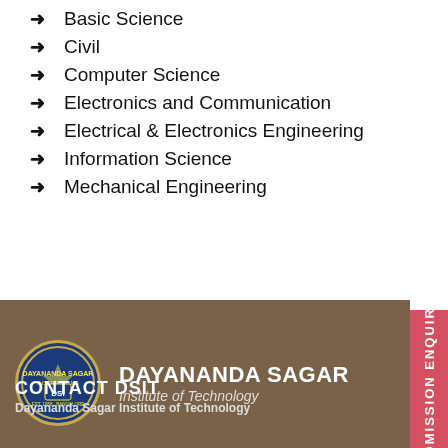Basic Science
Civil
Computer Science
Electronics and Communication
Electrical & Electronics Engineering
Information Science
Mechanical Engineering
[Figure (logo): Dayananda Sagar Institutions circular crest logo with blue shield, gold border, and DSI text]
DAYANANDA SAGAR Institute of Technology
CONTACT DSIT
Dayananda Sagar Institute of Technology